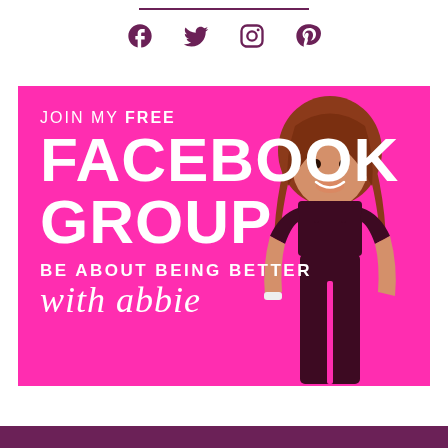[Figure (illustration): Decorative horizontal line above social icons]
[Figure (illustration): Social media icons row: Facebook, Twitter, Instagram, Pinterest in dark purple/maroon color]
[Figure (illustration): Bright pink/magenta banner with white text reading JOIN MY FREE FACEBOOK GROUP BE ABOUT BEING BETTER with abbie, alongside a photo of a woman with red hair wearing dark maroon workout clothes]
[Figure (illustration): Dark purple/maroon footer bar at bottom of page]